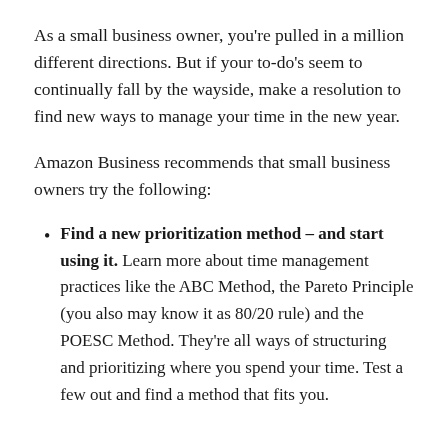As a small business owner, you're pulled in a million different directions. But if your to-do's seem to continually fall by the wayside, make a resolution to find new ways to manage your time in the new year.
Amazon Business recommends that small business owners try the following:
Find a new prioritization method – and start using it. Learn more about time management practices like the ABC Method, the Pareto Principle (you also may know it as 80/20 rule) and the POESC Method. They're all ways of structuring and prioritizing where you spend your time. Test a few out and find a method that fits you.